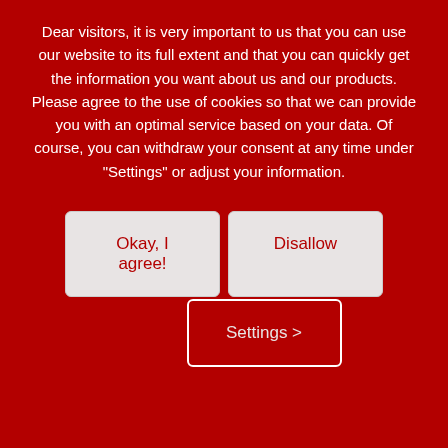Dear visitors, it is very important to us that you can use our website to its full extent and that you can quickly get the information you want about us and our products. Please agree to the use of cookies so that we can provide you with an optimal service based on your data. Of course, you can withdraw your consent at any time under "Settings" or adjust your information.
Okay, I agree!
Disallow
Settings >
Semi-automatic twistlock, big surface